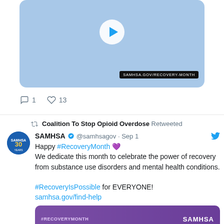[Figure (screenshot): Video thumbnail with play button on light blue background, with URL badge reading SAMHSA.GOV/RECOVERY-MONTH]
1  13
Coalition To Stop Opioid Overdose Retweeted
SAMHSA @samhsagov · Sep 1
Happy #RecoveryMonth 💜
We dedicate this month to celebrate the power of recovery from substance use disorders and mental health conditions.

#RecoveryIsPossible for EVERYONE!
samhsa.gov/find-help
[Figure (screenshot): SAMHSA Recovery Month banner image with purple background, #RECOVERYMONTH tag on left, SAMHSA logo on right, and National Helpline text below]